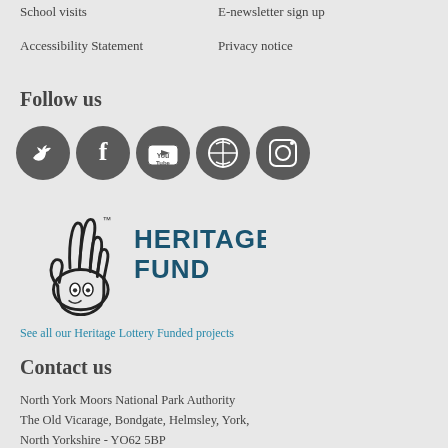School visits
E-newsletter sign up
Accessibility Statement
Privacy notice
Follow us
[Figure (illustration): Six circular dark grey social media icons: Twitter, Facebook, YouTube, WordPress, Instagram, Pinterest]
[Figure (logo): National Lottery Heritage Fund logo with crossed fingers hand icon and text HERITAGE FUND in dark teal]
See all our Heritage Lottery Funded projects
Contact us
North York Moors National Park Authority
The Old Vicarage, Bondgate, Helmsley, York,
North Yorkshire - YO62 5BP